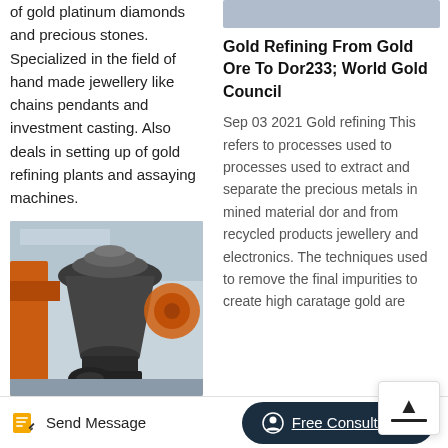of gold platinum diamonds and precious stones. Specialized in the field of hand made jewellery like chains pendants and investment casting. Also deals in setting up of gold refining plants and assaying machines.
[Figure (photo): Industrial mining/crushing machine in a factory setting with orange and black equipment]
[Figure (photo): Top image strip on right column (partially visible image)]
Gold Refining From Gold Ore To Dor233; World Gold Council
Sep 03 2021 Gold refining This refers to processes used to processes used to extract and separate the precious metals in mined material dor and from recycled products jewellery and electronics. The techniques used to remove the final impurities to create high caratage gold are
Send Message
Free Consultation